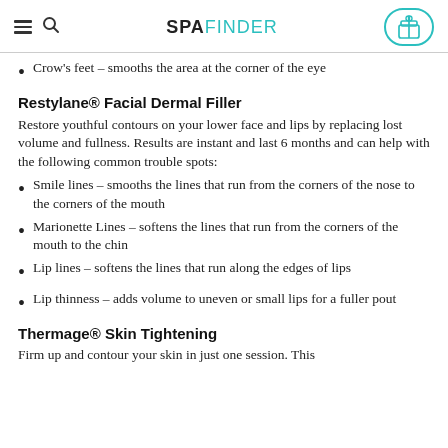SPAFINDER
Crow's feet – smooths the area at the corner of the eye
Restylane® Facial Dermal Filler
Restore youthful contours on your lower face and lips by replacing lost volume and fullness. Results are instant and last 6 months and can help with the following common trouble spots:
Smile lines – smooths the lines that run from the corners of the nose to the corners of the mouth
Marionette Lines – softens the lines that run from the corners of the mouth to the chin
Lip lines – softens the lines that run along the edges of lips
Lip thinness – adds volume to uneven or small lips for a fuller pout
Thermage® Skin Tightening
Firm up and contour your skin in just one session. This